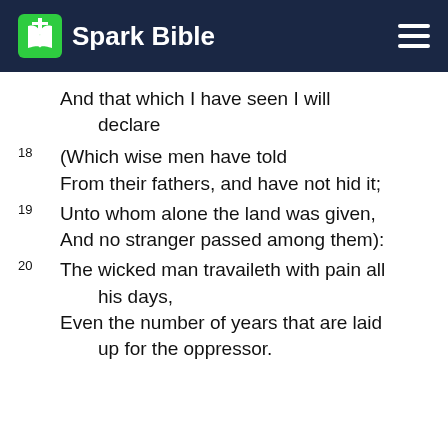Spark Bible
And that which I have seen I will declare
18 (Which wise men have told
From their fathers, and have not hid it;
19 Unto whom alone the land was given,
And no stranger passed among them):
20 The wicked man travaileth with pain all his days,
Even the number of years that are laid up for the oppressor.